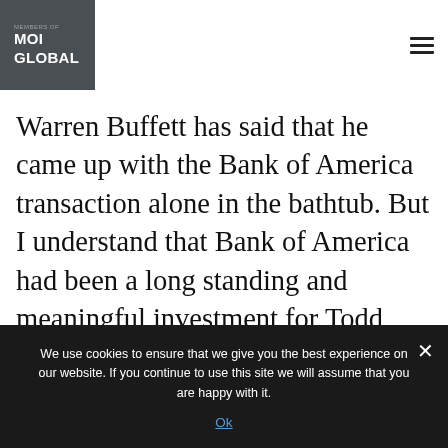MOI GLOBAL
Warren Buffett has said that he came up with the Bank of America transaction alone in the bathtub. But I understand that Bank of America had been a long standing and meaningful investment for Todd Combs. And so I wondered whether Todd was somewhere near the bathtub at the same time only to the extent of being able because of an
We use cookies to ensure that we give you the best experience on our website. If you continue to use this site we will assume that you are happy with it.
Ok